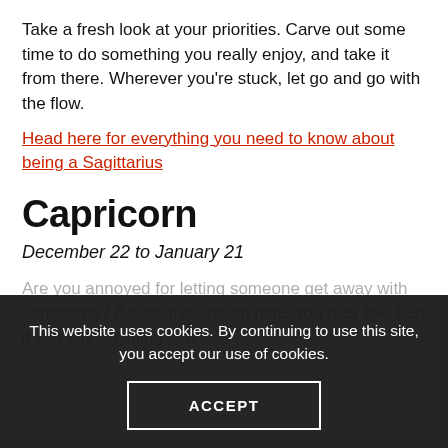Take a fresh look at your priorities. Carve out some time to do something you really enjoy, and take it from there. Wherever you're stuck, let go and go with the flow.
Head here for everything you need to know about being a Sagittarius
Capricorn
December 22 to January 21
Are you annoyed for letting someone get away with something? A sensitive line up hints you may feel bad if you say anything that
This website uses cookies. By continuing to use this site, you accept our use of cookies.
ACCEPT